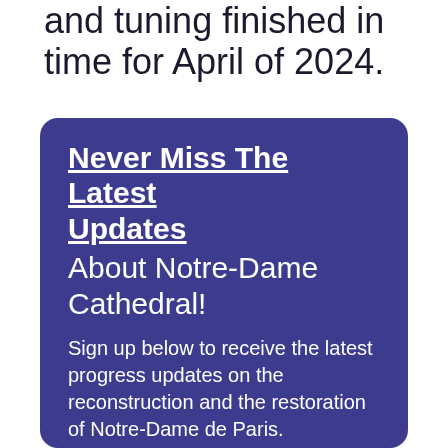Dame Organ's restoration is to have the work and tuning finished in time for April of 2024.
Never Miss The Latest Updates
About Notre-Dame Cathedral!
Sign up below to receive the latest progress updates on the reconstruction and the restoration of Notre-Dame de Paris.
First name
Last name